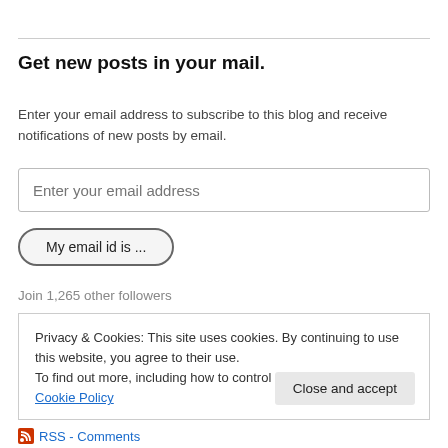Get new posts in your mail.
Enter your email address to subscribe to this blog and receive notifications of new posts by email.
Enter your email address
My email id is ...
Join 1,265 other followers
Privacy & Cookies: This site uses cookies. By continuing to use this website, you agree to their use.
To find out more, including how to control cookies, see here: Cookie Policy
Close and accept
RSS - Comments